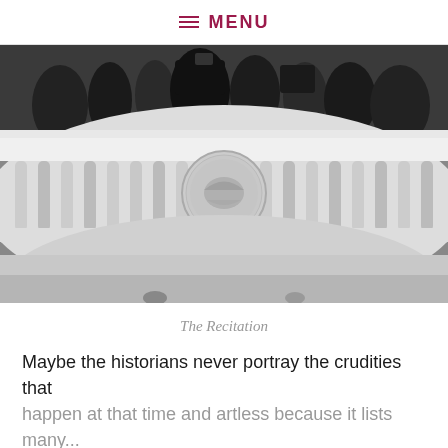≡ MENU
[Figure (photo): Black and white photograph of a presidential podium with the Presidential Seal, ornate white balustrade railing, and crowd of people with cameras visible in the background above.]
The Recitation
Maybe the historians never portray the crudities that happen at that time and artless because it lists many...